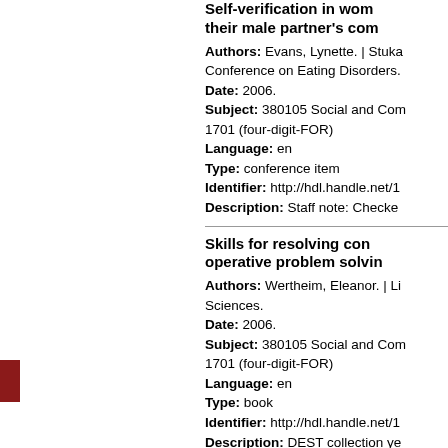Self-verification in women and their male partner's com...
Authors: Evans, Lynette. | Stuka... Conference on Eating Disorders.
Date: 2006.
Subject: 380105 Social and Com... 1701 (four-digit-FOR)
Language: en
Type: conference item
Identifier: http://hdl.handle.net/1...
Description: Staff note: Checked...
Skills for resolving con... operative problem solvin...
Authors: Wertheim, Eleanor. | Li... Sciences.
Date: 2006.
Subject: 380105 Social and Com... 1701 (four-digit-FOR)
Language: en
Type: book
Identifier: http://hdl.handle.net/1...
Description: DEST collection ye...